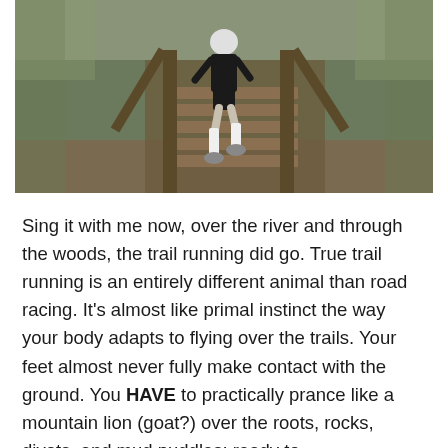[Figure (photo): A runner wearing black shirt, black shorts, and white knee-high socks climbing outdoor wooden stairs surrounded by trees and woodland scenery.]
Sing it with me now, over the river and through the woods, the trail running did go. True trail running is an entirely different animal than road racing. It's almost like primal instinct the way your body adapts to flying over the trails. Your feet almost never fully make contact with the ground. You HAVE to practically prance like a mountain lion (goat?) over the roots, rocks, divots, and mud puddles; ready to